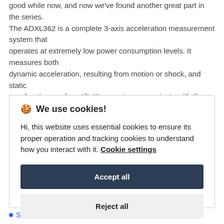good while now, and now we've found another great part in the series. The ADXL362 is a complete 3-axis acceleration measurement system that operates at extremely low power consumption levels. It measures both dynamic acceleration, resulting from motion or shock, and static acceleration, such as tilt. It's easy to communicate with the ADXL362 over SPI and built-in digital logic even enables autonomous operation for "wake-on-shake" operation.

We think this is a really cool device, so we spun up a breakout board! Now you can add low-power-consumption motion sensing to your next
🍪 We use cookies!

Hi, this website uses essential cookies to ensure its proper operation and tracking cookies to understand how you interact with it. Cookie settings

Accept all

Reject all
Schematic